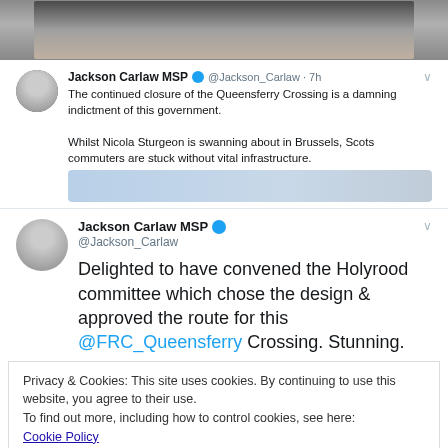[Figure (photo): Top portion of a photo showing a person in a suit with a red tie, partially cropped]
Jackson Carlaw MSP @Jackson_Carlaw · 7h
The continued closure of the Queensferry Crossing is a damning indictment of this government.

Whilst Nicola Sturgeon is swanning about in Brussels, Scots commuters are stuck without vital infrastructure.
[Figure (photo): Partially visible embedded image in tweet, showing blue/grey tones]
Jackson Carlaw MSP @Jackson_Carlaw
Delighted to have convened the Holyrood committee which chose the design & approved the route for this @FRC_Queensferry Crossing. Stunning.
Privacy & Cookies: This site uses cookies. By continuing to use this website, you agree to their use.
To find out more, including how to control cookies, see here:
Cookie Policy
Close and accept
RUllll